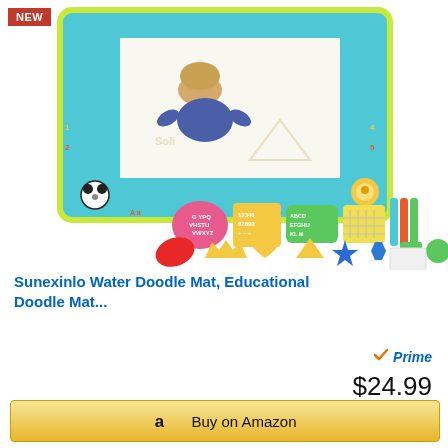[Figure (photo): Child using a colorful water doodle mat with animals and letters border. Second image shows the mat accessories: letter stencils, number stencils, alphabet stencils, shape stencils, color pens, and various shape cutouts in red, yellow, blue, and green.]
Sunexinlo Water Doodle Mat, Educational Doodle Mat...
Prime
$24.99
Buy on Amazon